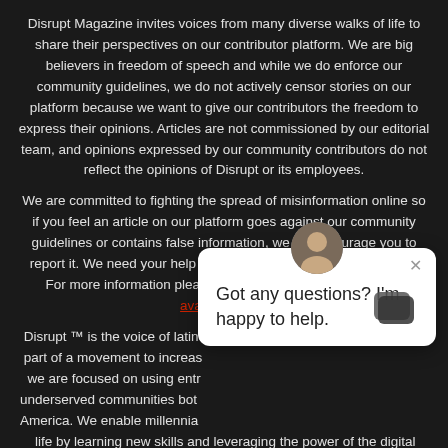Disrupt Magazine invites voices from many diverse walks of life to share their perspectives on our contributor platform. We are big believers in freedom of speech and while we do enforce our community guidelines, we do not actively censor stories on our platform because we want to give our contributors the freedom to express their opinions. Articles are not commissioned by our editorial team, and opinions expressed by our community contributors do not reflect the opinions of Disrupt or its employees.
We are committed to fighting the spread of misinformation online so if you feel an article on our platform goes against our community guidelines or contains false information, we do encourage you to report it. We need your help to fight the spread of misinformation. For more information please visit our Contributor Guidelines available here.
Disrupt ™ is the voice of latino... part of a movement to increas... we are focused on using entr... underserved communities bot... America. We enable millennia... life by learning new skills and leveraging the power of the digital economy. We are living proof that all you need to succeed in th... economy is a landing page and a dream. Disrupt tells the stori... world top entrepreneurs, developers, creators, and digital marke... help empower them to teach others the skills they used to grow their
[Figure (screenshot): Chat widget overlay showing avatar photo of a person, a close (x) button, and the message 'Got any questions? I'm happy to help.']